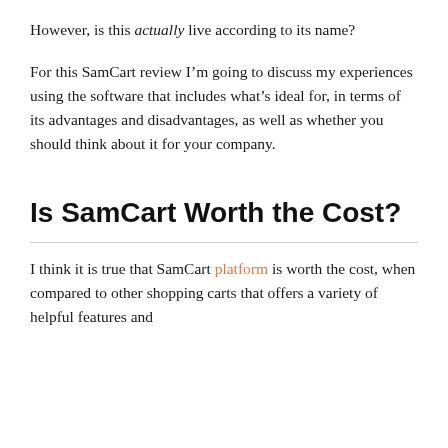However, is this actually live according to its name?
For this SamCart review I’m going to discuss my experiences using the software that includes what’s ideal for, in terms of its advantages and disadvantages, as well as whether you should think about it for your company.
Is SamCart Worth the Cost?
I think it is true that SamCart platform is worth the cost, when compared to other shopping carts that offers a variety of helpful features and